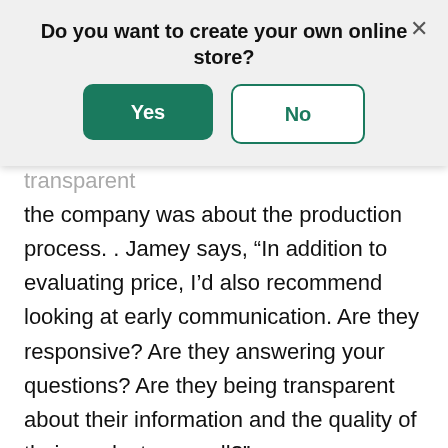Do you want to create your own online store?
[Figure (screenshot): Modal dialog with 'Yes' (green filled button) and 'No' (white/outlined button) options, and an X close button in the top right.]
observing how communicative and transparent the company was about the production process. . Jamey says, “In addition to evaluating price, I’d also recommend looking at early communication. Are they responsive? Are they answering your questions? Are they being transparent about their information and the quality of their products as well?”
Crowdfunding strategies are just one of the great highlights that Jamey Stegmaier shared during our interview. Tune into the full Shopify